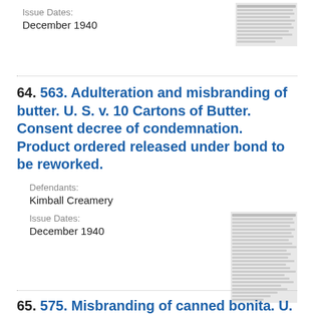Issue Dates:
December 1940
[Figure (other): Thumbnail of document page (top right)]
64. 563. Adulteration and misbranding of butter. U. S. v. 10 Cartons of Butter. Consent decree of condemnation. Product ordered released under bond to be reworked.
Defendants:
Kimball Creamery
Issue Dates:
December 1940
[Figure (other): Thumbnail of document page (middle right)]
65. 575. Misbranding of canned bonita. U. S. v.